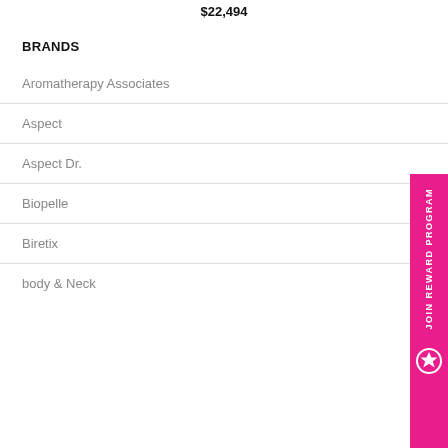$22,494
BRANDS
Aromatherapy Associates
Aspect
Aspect Dr.
Biopelle
Biretix
body & Neck